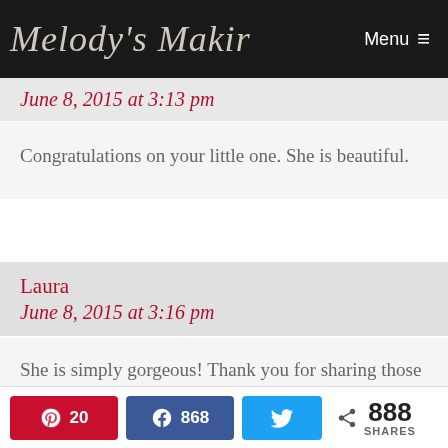Melody's Makin  Menu ≡
June 8, 2015 at 3:13 pm
Congratulations on your little one. She is beautiful.
Laura
June 8, 2015 at 3:16 pm
She is simply gorgeous! Thank you for sharing those beautiful photos!
20  868  888 SHARES